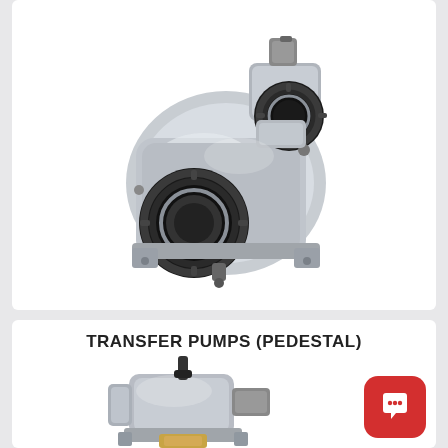[Figure (photo): Silver aluminum transfer pump with two black circular port connectors (camlock fittings) — one on the front face and one on the top-right — photographed on a white background.]
TRANSFER PUMPS (PEDESTAL)
[Figure (photo): Partial view of a silver/grey pedestal transfer pump with a black shaft/handle, photographed on a white background.]
[Figure (other): Red rounded-square chat/messaging app icon with a white speech bubble symbol.]